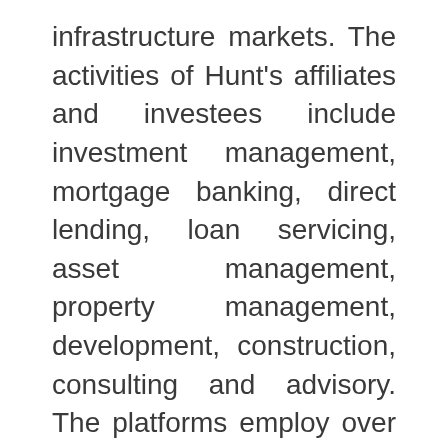infrastructure markets. The activities of Hunt's affiliates and investees include investment management, mortgage banking, direct lending, loan servicing, asset management, property management, development, construction, consulting and advisory. The platforms employ over 4,000 people and touch over $30 billion in assets. Hunt has been active in Hawai`i for more than two decades, and has long been recognized for its innovative renovation of underutilized military properties, as well as its commitment to creating premier